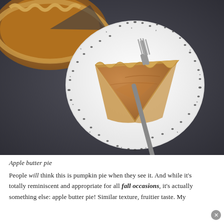[Figure (photo): Overhead photo of a slice of apple butter pie on a white decorative doily plate with a fork, set on a dark slate surface. A partially visible whole pie in a fluted crust is visible in the upper left corner.]
Apple butter pie
People will think this is pumpkin pie when they see it. And while it's totally reminiscent and appropriate for all fall occasions, it's actually something else: apple butter pie! Similar texture, fruitier taste. My